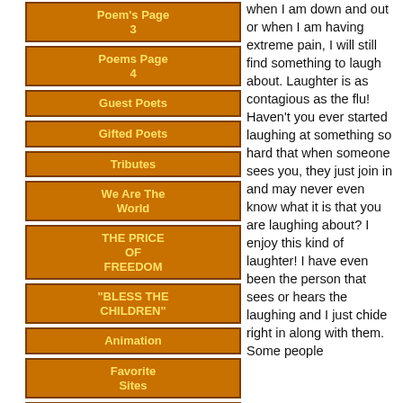Poem's Page 3
Poems Page 4
Guest Poets
Gifted Poets
Tributes
We Are The World
THE PRICE OF FREEDOM
"BLESS THE CHILDREN"
Animation
Favorite Sites
SUE'S COZY CORNER
Awards
A Tribute to
when I am down and out or when I am having extreme pain, I will still find something to laugh about. Laughter is as contagious as the flu! Haven't you ever started laughing at something so hard that when someone sees you, they just join in and may never even know what it is that you are laughing about? I enjoy this kind of laughter! I have even been the person that sees or hears the laughing and I just chide right in along with them. Some people